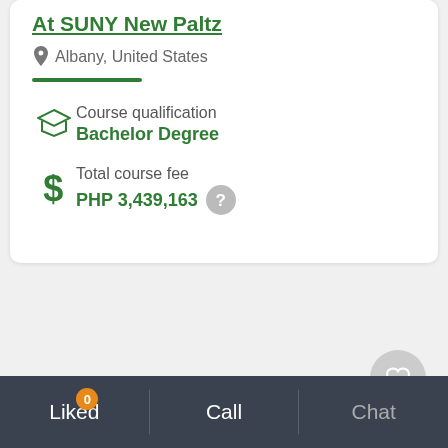At SUNY New Paltz
Albany, United States
Course qualification
Bachelor Degree
Total course fee
PHP 3,439,163
Liked 0  Call  Chat